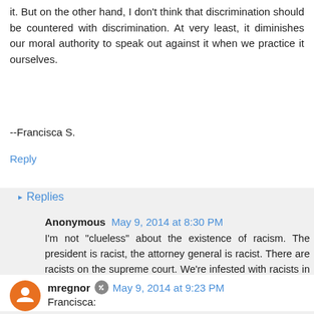it. But on the other hand, I don't think that discrimination should be countered with discrimination. At very least, it diminishes our moral authority to speak out against it when we practice it ourselves.
--Francisca S.
Reply
Replies
Anonymous May 9, 2014 at 8:30 PM
I'm not "clueless" about the existence of racism. The president is racist, the attorney general is racist. There are racists on the supreme court. We're infested with racists in most our institutions. So please don't make blanket statements about the way "white people" are.
mregnor May 9, 2014 at 9:23 PM
Francisca: